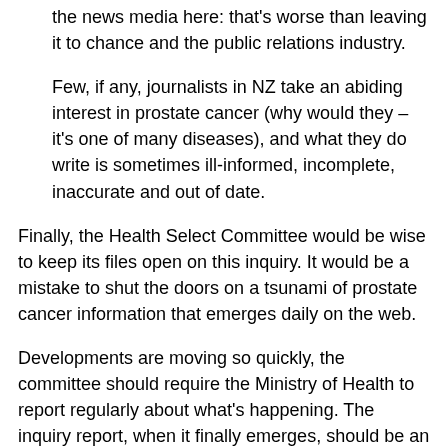the news media here: that's worse than leaving it to chance and the public relations industry.
Few, if any, journalists in NZ take an abiding interest in prostate cancer (why would they – it's one of many diseases), and what they do write is sometimes ill-informed, incomplete, inaccurate and out of date.
Finally, the Health Select Committee would be wise to keep its files open on this inquiry. It would be a mistake to shut the doors on a tsunami of prostate cancer information that emerges daily on the web.
Developments are moving so quickly, the committee should require the Ministry of Health to report regularly about what's happening. The inquiry report, when it finally emerges, should be an interim one that can be updated over time.